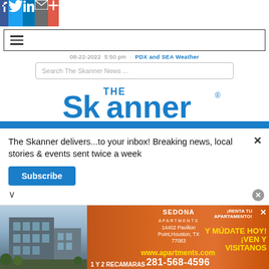[Figure (screenshot): Social media sharing bar with Facebook, Twitter, LinkedIn, Email, and Plus icons]
[Figure (screenshot): Hamburger menu icon in a bordered rectangle]
08-22-2022  5:50 pm  ·  PDX and SEA Weather
Search The Skanner News ...
[Figure (logo): The Skanner newspaper logo in blue]
The Skanner delivers...to your inbox! Breaking news, local stories & events sent twice a week
Subscribe
[Figure (infographic): Sedona Apartments advertisement: 14402 Pavilion Point, Houston, TX 77083. ¡RENTA TU APARTAMENTO! Y MÚDATE HOY! ¡VEN Y VISITANOS. www.apartments.com. 281-568-4596. 1 Y 2 RECAMARAS]